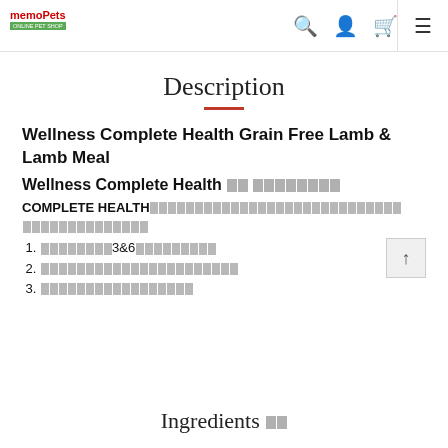memoPets [logo] [search icon] [user icon] [cart icon] [menu icon]
Description
Wellness Complete Health Grain Free Lamb & Lamb Meal
Wellness Complete Health [garbled text]
COMPLETE HEALTH[garbled text]
1. [garbled]3&6[garbled]
2. [garbled]
3. [garbled]
Ingredients [garbled]